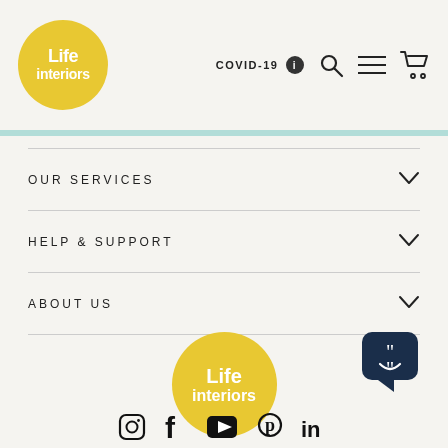[Figure (logo): Life Interiors yellow circle logo in top left of header]
COVID-19 ℹ
[Figure (other): Search, hamburger menu, and shopping cart icons in header]
OUR SERVICES
HELP & SUPPORT
ABOUT US
[Figure (logo): Life Interiors large yellow circle logo centered in footer area]
[Figure (other): Chat support widget icon in bottom right]
[Figure (other): Social media icons row: Instagram, Facebook, YouTube, Pinterest, LinkedIn]